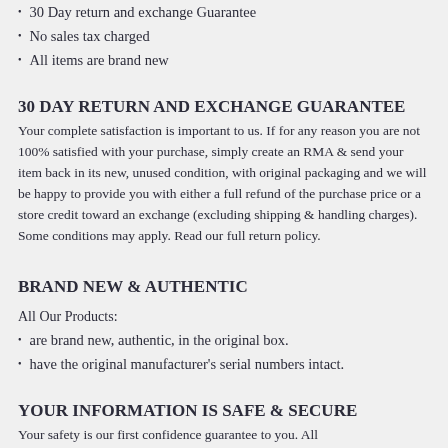30 Day return and exchange Guarantee
No sales tax charged
All items are brand new
30 DAY RETURN AND EXCHANGE GUARANTEE
Your complete satisfaction is important to us. If for any reason you are not 100% satisfied with your purchase, simply create an RMA & send your item back in its new, unused condition, with original packaging and we will be happy to provide you with either a full refund of the purchase price or a store credit toward an exchange (excluding shipping & handling charges). Some conditions may apply. Read our full return policy.
BRAND NEW & AUTHENTIC
All Our Products:
are brand new, authentic, in the original box.
have the original manufacturer's serial numbers intact.
YOUR INFORMATION IS SAFE & SECURE
Your safety is our first confidence guarantee to you. All